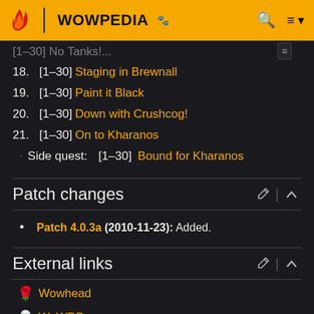WOWPEDIA
[1-30] Staging in Brewnall
[1-30] Paint it Black
[1-30] Down with Crushcog!
[1-30] On to Kharanos
Side quest: [1-30] Bound for Kharanos
Patch changes
Patch 4.0.3a (2010-11-23): Added.
External links
Wowhead
WoWDB